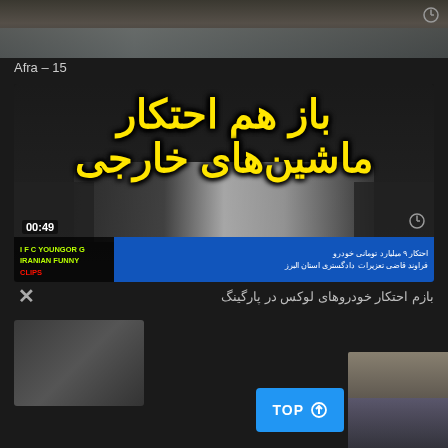[Figure (screenshot): Top partial video thumbnail with dark background showing two people standing]
Afra – 15
[Figure (screenshot): Video thumbnail with Persian text in yellow 'باز هم احتکار ماشین‌های خارجی' over parked cars background, with IFC YoungOrg Iranian Funny Clips watermark and news ticker showing احتکار 9 میلیارد تومانی خودرو. Timestamp 00:49 shown.]
بازم احتکار خودروهای لوکس در پارگینگ
[Figure (screenshot): Partial bottom thumbnail of a person's face]